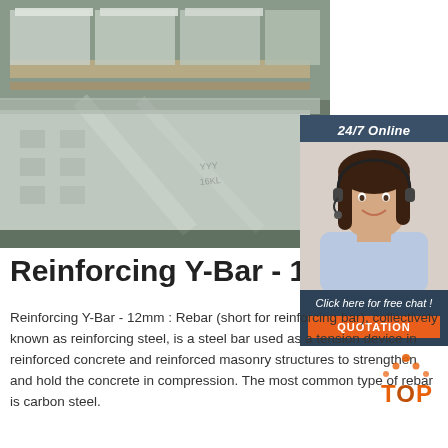[Figure (photo): Warehouse shelves stacked with large stainless steel or aluminum flat sheets/plates on wooden pallets]
[Figure (photo): Customer service representative woman with headset smiling, with '24/7 Online' header and 'Click here for free chat!' and 'QUOTATION' button overlay]
Reinforcing Y-Bar - 12m
Reinforcing Y-Bar - 12mm : Rebar (short for reinforcing bar), collectively known as reinforcing steel, is a steel bar used as a tension device in reinforced concrete and reinforced masonry structures to strengthen and hold the concrete in compression. The most common type of rebar is carbon steel.